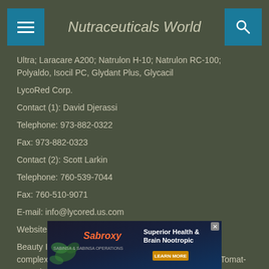Nutraceuticals World
Ultra; Laracare A200; Natrulon H-10; Natrulon RC-100; Polyaldo, Isocil PC, Glydant Plus, Glycacil
LycoRed Corp.
Contact (1): David Djerassi
Telephone: 973-882-0322
Fax: 973-882-0323
Contact (2): Scott Larkin
Telephone: 760-539-7044
Fax: 760-510-9071
E-mail: info@lycored.us.com
Websites: www.lycored.com; www.lycopene.com
Beauty Ingredients: Lyc-O-Mato 6% (tomato lycopene complex); Lyc-O-Mato XP (tomato lycopene complex); Tomat-O-Red 2% SG; astaxanthin; lutein; beta-carotene;
[Figure (other): Advertisement banner for Sabroxy Superior Health & Brain Nootropic with Learn More button]